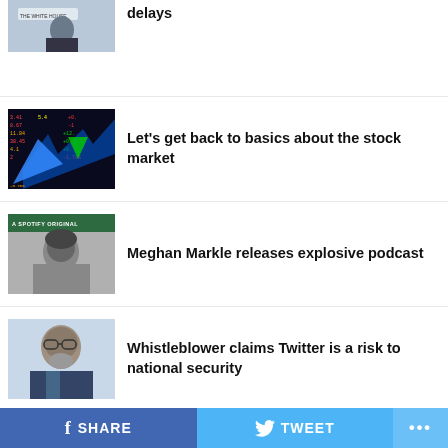[Figure (photo): Partial thumbnail of Pete Buttigieg at White House briefing podium, cut off at top]
delays
[Figure (photo): Stock market ticker board with arrows showing market fluctuations]
Let's get back to basics about the stock market
[Figure (photo): Meghan Markle Spotify original podcast cover, black and white portrait]
Meghan Markle releases explosive podcast
[Figure (photo): Middle-aged man with glasses and beard, whistleblower]
Whistleblower claims Twitter is a risk to national security
[Figure (photo): Nancy Pelosi and husband at event]
Nancy Pelosi's husband sentenced to jail
f SHARE   [Twitter bird] TWEET   ...